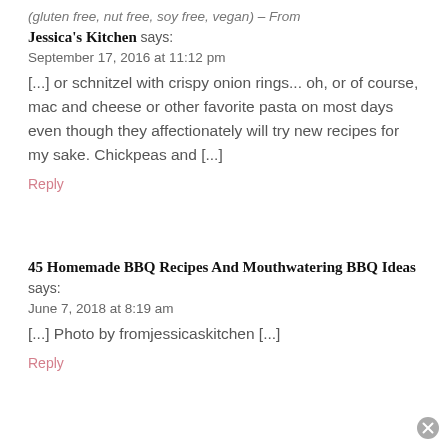(gluten free, nut free, soy free, vegan) – From Jessica's Kitchen says:
September 17, 2016 at 11:12 pm
[...] or schnitzel with crispy onion rings... oh, or of course, mac and cheese or other favorite pasta on most days even though they affectionately will try new recipes for my sake. Chickpeas and [...]
Reply
45 Homemade BBQ Recipes And Mouthwatering BBQ Ideas says:
June 7, 2018 at 8:19 am
[...] Photo by fromjessicaskitchen [...]
Reply